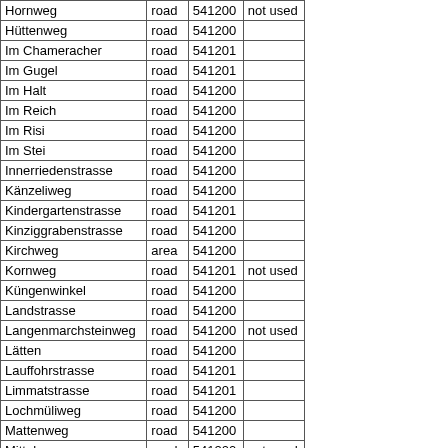| Hornweg | road | 541200 | not used |
| Hüttenweg | road | 541200 |  |
| Im Chameracher | road | 541201 |  |
| Im Gugel | road | 541201 |  |
| Im Halt | road | 541200 |  |
| Im Reich | road | 541200 |  |
| Im Risi | road | 541200 |  |
| Im Stei | road | 541200 |  |
| Innerriedenstrasse | road | 541200 |  |
| Känzeliweg | road | 541200 |  |
| Kindergartenstrasse | road | 541201 |  |
| Kinziggrabenstrasse | road | 541200 |  |
| Kirchweg | area | 541200 |  |
| Kornweg | road | 541201 | not used |
| Küngenwinkel | road | 541200 |  |
| Landstrasse | road | 541200 |  |
| Langenmarchsteinweg | road | 541200 | not used |
| Lätten | road | 541200 |  |
| Lauffohrstrasse | road | 541201 |  |
| Limmatstrasse | road | 541201 |  |
| Lochmüliweg | road | 541200 |  |
| Mattenweg | road | 541200 |  |
| Mittelweg | road | 541200 | not used |
| Mühlehausweg | road | 541200 |  |
| Neumattstrasse | road | 541200 |  |
| Oberdorfstrasse | road | 541200 |  |
| Obere Althaustrasse | road | 541200 | not used |